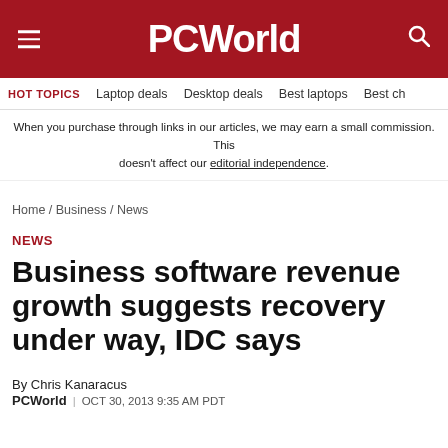PCWorld
HOT TOPICS   Laptop deals   Desktop deals   Best laptops   Best ch
When you purchase through links in our articles, we may earn a small commission. This doesn’t affect our editorial independence.
Home / Business / News
NEWS
Business software revenue growth suggests recovery under way, IDC says
By Chris Kanaracus
PCWorld  |  OCT 30, 2013 9:35 AM PDT